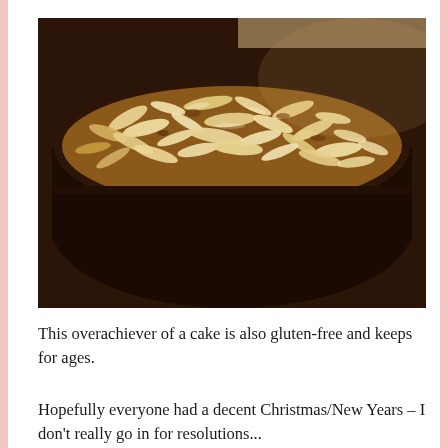[Figure (photo): Close-up photo of a dark chocolate cake topped with caramelized sliced almonds, viewed from slightly above at an angle. The cake has a dark brown body with a golden-brown nutty topping.]
This overachiever of a cake is also gluten-free and keeps for ages.
Hopefully everyone had a decent Christmas/New Years – I don't really go in for resolutions...